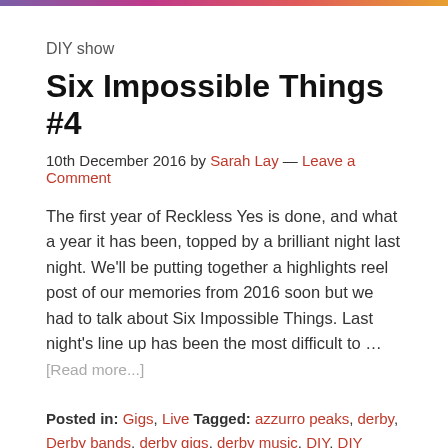DIY show
Six Impossible Things #4
10th December 2016 by Sarah Lay — Leave a Comment
The first year of Reckless Yes is done, and what a year it has been, topped by a brilliant night last night. We'll be putting together a highlights reel post of our memories from 2016 soon but we had to talk about Six Impossible Things. Last night's line up has been the most difficult to …
[Read more...]
Posted in: Gigs, Live Tagged: azzurro peaks, derby, Derby bands, derby gigs, derby music, DIY, DIY Derby, DIY show, Free